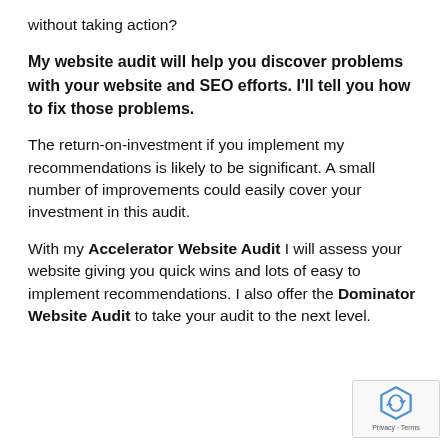without taking action?
My website audit will help you discover problems with your website and SEO efforts. I'll tell you how to fix those problems.
The return-on-investment if you implement my recommendations is likely to be significant. A small number of improvements could easily cover your investment in this audit.
With my Accelerator Website Audit I will assess your website giving you quick wins and lots of easy to implement recommendations. I also offer the Dominator Website Audit to take your audit to the next level.
[Figure (logo): reCAPTCHA badge with Privacy and Terms links]